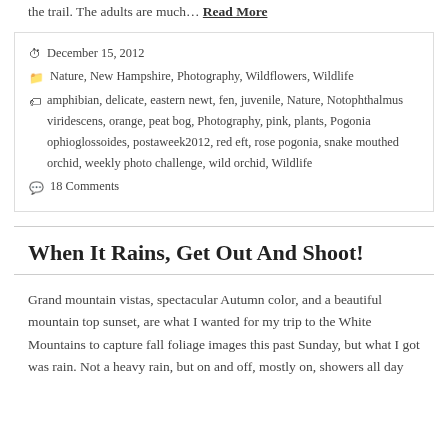the trail. The adults are much… Read More
December 15, 2012
Nature, New Hampshire, Photography, Wildflowers, Wildlife
amphibian, delicate, eastern newt, fen, juvenile, Nature, Notophthalmus viridescens, orange, peat bog, Photography, pink, plants, Pogonia ophioglossoides, postaweek2012, red eft, rose pogonia, snake mouthed orchid, weekly photo challenge, wild orchid, Wildlife
18 Comments
When It Rains, Get Out And Shoot!
Grand mountain vistas, spectacular Autumn color, and a beautiful mountain top sunset, are what I wanted for my trip to the White Mountains to capture fall foliage images this past Sunday, but what I got was rain. Not a heavy rain, but on and off, mostly on, showers all day